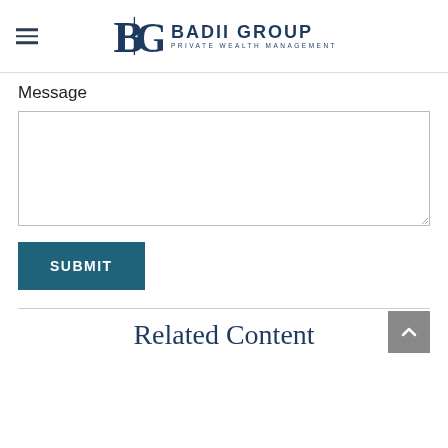[Figure (logo): Badii Group Private Wealth Management logo with BG monogram and hamburger menu icon]
Message
[Figure (screenshot): Empty message textarea input box with resize handle]
SUBMIT
Related Content